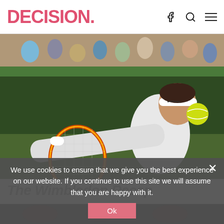DECISION.
[Figure (photo): Tennis player (Rafael Nadal) hitting a backhand shot at Wimbledon, wearing white outfit and headband, with a yellow tennis ball visible near his face. Green court background with spectators in stands.]
The Wimbledon Recap
[Figure (photo): Partially visible image at bottom of page, appears to show tennis-related content, obscured by cookie banner.]
We use cookies to ensure that we give you the best experience on our website. If you continue to use this site we will assume that you are happy with it.